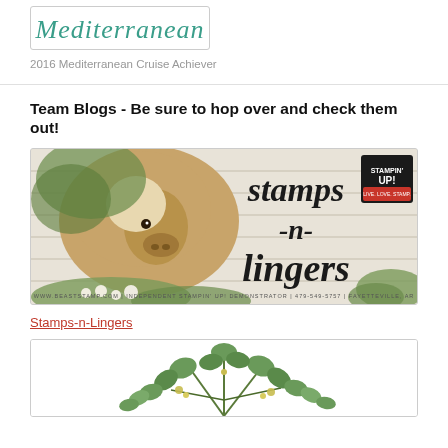[Figure (illustration): Mediterranean cruise achiever banner with cursive teal text]
2016 Mediterranean Cruise Achiever
Team Blogs - Be sure to hop over and check them out!
[Figure (photo): Stamps-n-Lingers blog banner featuring a horse and floral decoration on a whitewashed wood background with Stampin' Up! logo]
Stamps-n-Lingers
[Figure (illustration): Second blog banner with eucalyptus and floral botanical decoration on white background]